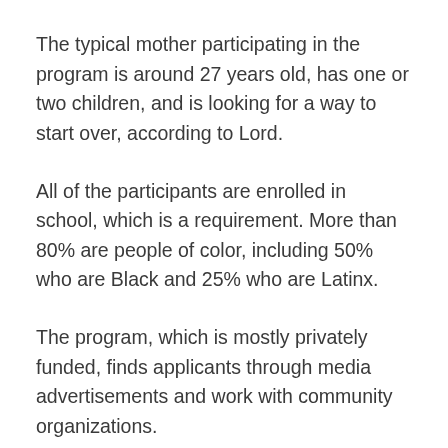The typical mother participating in the program is around 27 years old, has one or two children, and is looking for a way to start over, according to Lord.
All of the participants are enrolled in school, which is a requirement. More than 80% are people of color, including 50% who are Black and 25% who are Latinx.
The program, which is mostly privately funded, finds applicants through media advertisements and work with community organizations.
The program begins with 12 weeks of empowerment and leadership training, where the participants design a blueprint for what they want to achieve in their lives.
“Creating that space for that type of engagement and that